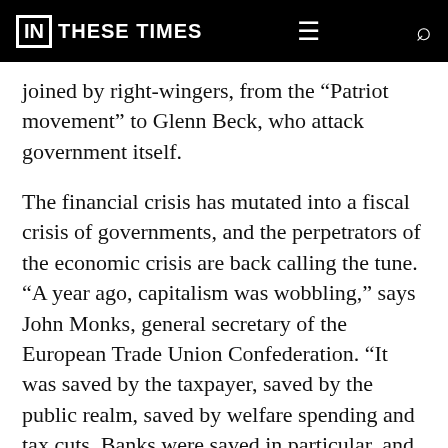IN THESE TIMES
joined by right-wingers, from the “Patriot movement” to Glenn Beck, who attack government itself.
The financial crisis has mutated into a fiscal crisis of governments, and the perpetrators of the economic crisis are back calling the tune. “A year ago, capitalism was wobbling,” says John Monks, general secretary of the European Trade Union Confederation. “It was saved by the taxpayer, saved by the public realm, saved by welfare spending and tax cuts. Banks were saved in particular, and now the private sector is headed back to business as usual. In the present circumstance, it’s almost, ‘Let’s get down to cutting back the role of the state and restore